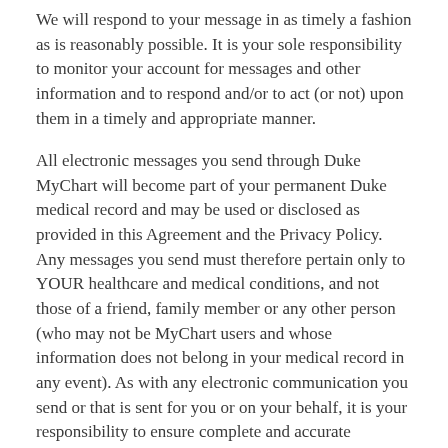We will respond to your message in as timely a fashion as is reasonably possible. It is your sole responsibility to monitor your account for messages and other information and to respond and/or to act (or not) upon them in a timely and appropriate manner.
All electronic messages you send through Duke MyChart will become part of your permanent Duke medical record and may be used or disclosed as provided in this Agreement and the Privacy Policy. Any messages you send must therefore pertain only to YOUR healthcare and medical conditions, and not those of a friend, family member or any other person (who may not be MyChart users and whose information does not belong in your medical record in any event). As with any electronic communication you send or that is sent for you or on your behalf, it is your responsibility to ensure complete and accurate information is provided. Any response to such communications will be based solely on the information provided.
Though MyChart message transmission may be secure, your